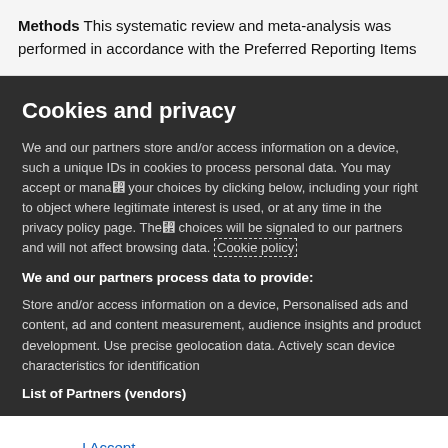Methods This systematic review and meta-analysis was performed in accordance with the Preferred Reporting Items
Cookies and privacy
We and our partners store and/or access information on a device, such as unique IDs in cookies to process personal data. You may accept or manage your choices by clicking below, including your right to object where legitimate interest is used, or at any time in the privacy policy page. These choices will be signaled to our partners and will not affect browsing data. Cookie policy
We and our partners process data to provide:
Store and/or access information on a device, Personalised ads and content, ad and content measurement, audience insights and product development. Use precise geolocation data. Actively scan device characteristics for identification
List of Partners (vendors)